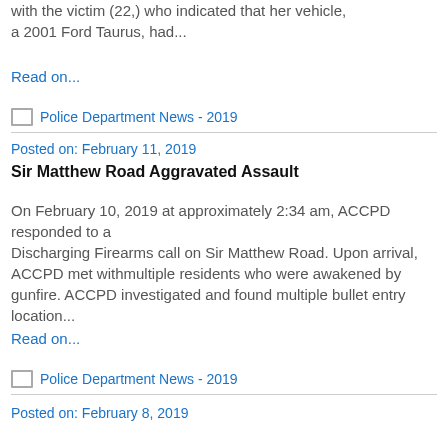with the victim (22,) who indicated that her vehicle, a 2001 Ford Taurus, had...
Read on...
Police Department News - 2019
Posted on: February 11, 2019
Sir Matthew Road Aggravated Assault
On February 10, 2019 at approximately 2:34 am, ACCPD responded to a Discharging Firearms call on Sir Matthew Road. Upon arrival, ACCPD met withmultiple residents who were awakened by gunfire. ACCPD investigated and found multiple bullet entry location...
Read on...
Police Department News - 2019
Posted on: February 8, 2019